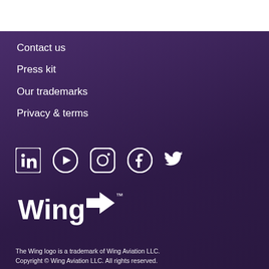Contact us
Press kit
Our trademarks
Privacy & terms
[Figure (illustration): Row of social media icons: LinkedIn, YouTube, Instagram, Facebook, Twitter — white on dark purple background]
[Figure (logo): Wing logo with trademark symbol — white text on dark purple background]
The Wing logo is a trademark of Wing Aviation LLC. Copyright © Wing Aviation LLC. All rights reserved.